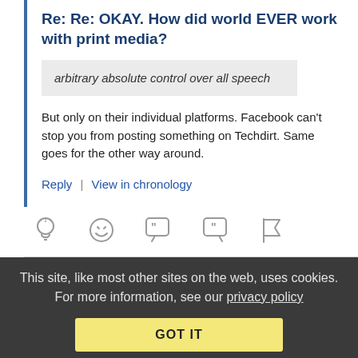Re: Re: OKAY. How did world EVER work with print media?
arbitrary absolute control over all speech
But only on their individual platforms. Facebook can't stop you from posting something on Techdirt. Same goes for the other way around.
Reply | View in chronology
[Figure (infographic): Row of 5 action icons: lightbulb, laughing emoji, open-quote speech bubble, close-quote speech bubble, flag]
This site, like most other sites on the web, uses cookies. For more information, see our privacy policy
GOT IT